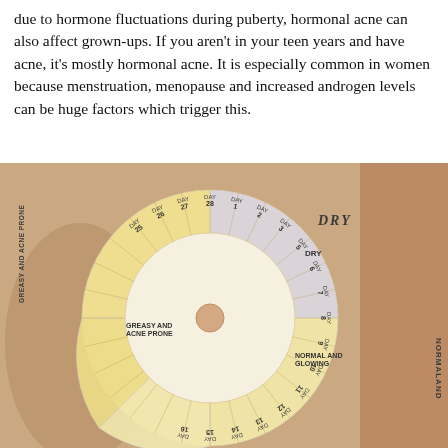due to hormone fluctuations during puberty, hormonal acne can also affect grown-ups. If you aren't in your teen years and have acne, it's mostly hormonal acne. It is especially common in women because menstruation, menopause and increased androgen levels can be huge factors which trigger this.
[Figure (infographic): A circular wheel diagram overlaid on a photo of a woman's skin/neck. The wheel is divided into sections representing days of the menstrual cycle. Sections are labeled: DRY (days 5-10), NORMAL AND GLOWING (days 11-16), GREASY AND ACNE PRONE (days 1, 26-28). Each section contains descriptive text about skin condition during those cycle days. Day numbers radiate around the outside of the wheel.]